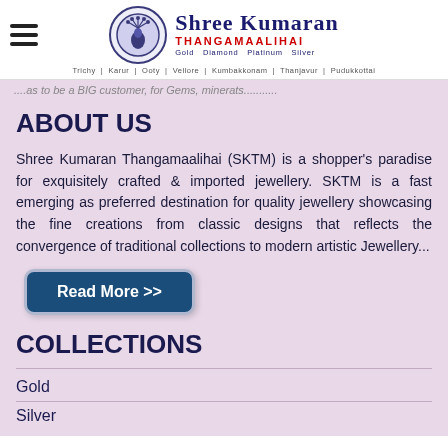Shree Kumaran THANGAMAALIHAI Gold Diamond Platinum Silver | Trichy | Karur | Ooty | Vellore | Kumbakkonam | Thanjavur | Pudukkottai
...as to be a BIG customer, for Gems, minerals...
ABOUT US
Shree Kumaran Thangamaalihai (SKTM) is a shopper's paradise for exquisitely crafted & imported jewellery. SKTM is a fast emerging as preferred destination for quality jewellery showcasing the fine creations from classic designs that reflects the convergence of traditional collections to modern artistic Jewellery...
Read More >>
COLLECTIONS
Gold
Silver